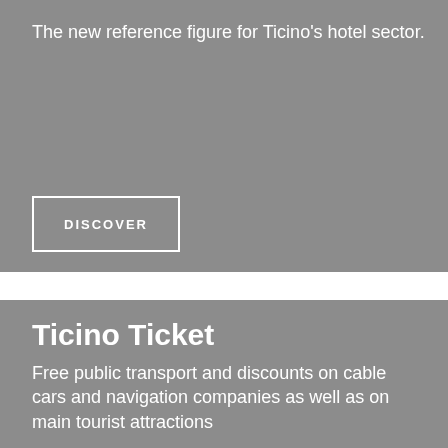The new reference figure for Ticino's hotel sector.
DISCOVER
Ticino Ticket
Free public transport and discounts on cable cars and navigation companies as well as on main tourist attractions